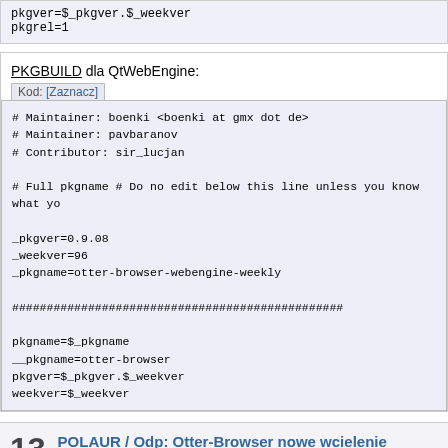pkgver=$_pkgver.$_weekver
pkgrel=1
PKGBUILD dla QtWebEngine:
Kod: [Zaznacz]
# Maintainer: boenki <boenki at gmx dot de>
# Maintainer: pavbaranov
# Contributor: sir_lucjan

# Full pkgname # Do no edit below this line unless you know what yo

_pkgver=0.9.08
_weekver=96
_pkgname=otter-browser-webengine-weekly

################################################

pkgname=$_pkgname
__pkgname=otter-browser
pkgver=$_pkgver.$_weekver
weekver=$_weekver
13
POLAUR / Odp: Otter-Browser nowe wcielenie
« Ostatnia wiadomość wysłana przez pavbaranov dnia Październik 28, 2015,
Wersja #95:
PKGBUILD dla wersji opartej o qtwebkit: